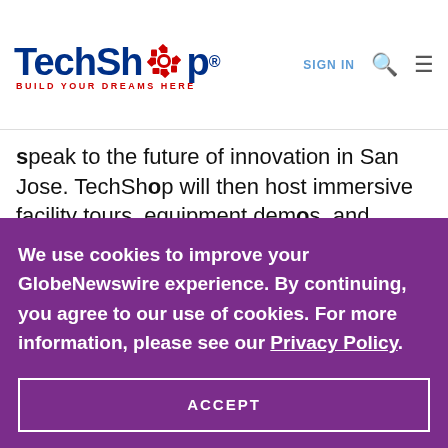TechShop | BUILD YOUR DREAMS HERE | SIGN IN
speak to the future of innovation in San Jose. TechShop will then host immersive facility tours, equipment demos, and hands-on activities.
We use cookies to improve your GlobeNewswire experience. By continuing, you agree to our use of cookies. For more information, please see our Privacy Policy.
ACCEPT